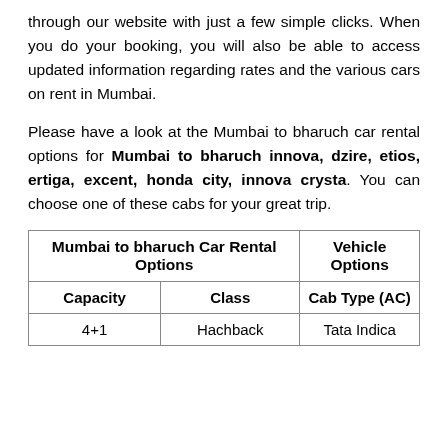through our website with just a few simple clicks. When you do your booking, you will also be able to access updated information regarding rates and the various cars on rent in Mumbai.
Please have a look at the Mumbai to bharuch car rental options for Mumbai to bharuch innova, dzire, etios, ertiga, excent, honda city, innova crysta. You can choose one of these cabs for your great trip.
| Mumbai to bharuch Car Rental Options | Vehicle Options |
| --- | --- |
| Capacity | Class | Cab Type (AC) |
| 4+1 | Hachback | Tata Indica |